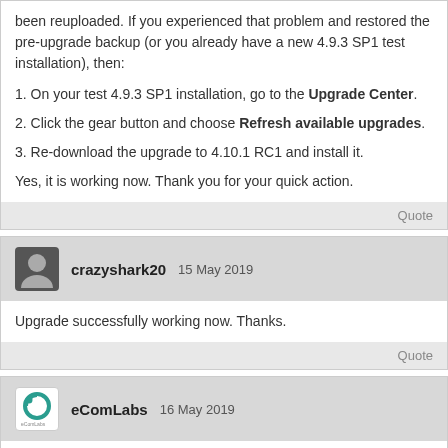been reuploaded. If you experienced that problem and restored the pre-upgrade backup (or you already have a new 4.9.3 SP1 test installation), then:
1. On your test 4.9.3 SP1 installation, go to the Upgrade Center.
2. Click the gear button and choose Refresh available upgrades.
3. Re-download the upgrade to 4.10.1 RC1 and install it.
Yes, it is working now. Thank you for your quick action.
Quote
crazyshark20 15 May 2019
Upgrade successfully working now. Thanks.
Quote
eComLabs 16 May 2019
Contact developer of the my_payment_modul addon ask him to fix the issue. As temporary solution you can use